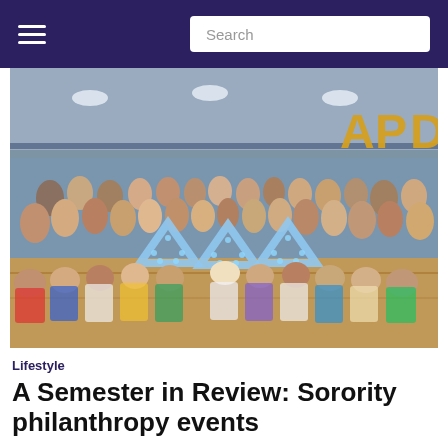Navigation bar with hamburger menu and Search input
[Figure (photo): Large group photo of sorority women posing in a gymnasium. They are arranged in rows with several women holding large illuminated light-up letters forming 'ΔΔΔ' (Delta Delta Delta) in blue and white polka dot style in the front. Gold balloon letters 'ΔΔΔ' or 'APD' are visible in the upper right background. The gym has wooden floors and blue walls with an upper track level visible.]
Lifestyle
A Semester in Review: Sorority philanthropy events